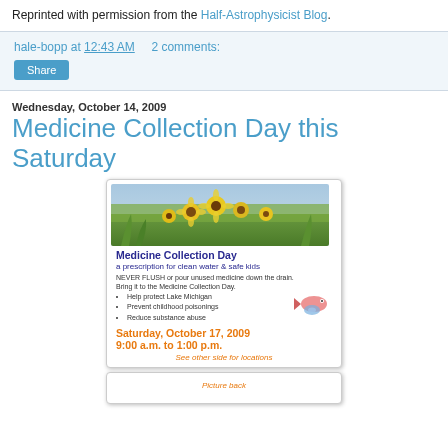Reprinted with permission from the Half-Astrophysicist Blog.
hale-bopp at 12:43 AM   2 comments:
Share
Wednesday, October 14, 2009
Medicine Collection Day this Saturday
[Figure (infographic): Flyer for Medicine Collection Day event showing yellow flowers photo at top, event details including date Saturday October 17 2009, time 9:00 a.m. to 1:00 p.m., bullet points about protecting Lake Michigan, preventing childhood poisonings, reducing substance abuse, and note to see other side for locations.]
[Figure (other): Partial second card visible at bottom of page showing orange italic text]